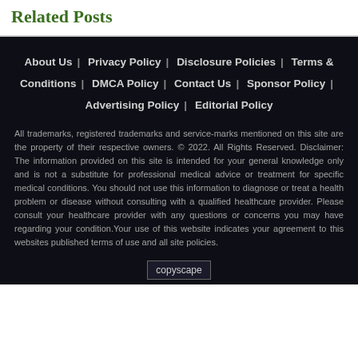Related Posts
About Us | Privacy Policy | Disclosure Policies | Terms & Conditions | DMCA Policy | Contact Us | Sponsor Policy | Advertising Policy | Editorial Policy
All trademarks, registered trademarks and service-marks mentioned on this site are the property of their respective owners. © 2022. All Rights Reserved. Disclaimer: The information provided on this site is intended for your general knowledge only and is not a substitute for professional medical advice or treatment for specific medical conditions. You should not use this information to diagnose or treat a health problem or disease without consulting with a qualified healthcare provider. Please consult your healthcare provider with any questions or concerns you may have regarding your condition.Your use of this website indicates your agreement to this websites published terms of use and all site policies.
[Figure (logo): copyscape logo placeholder]